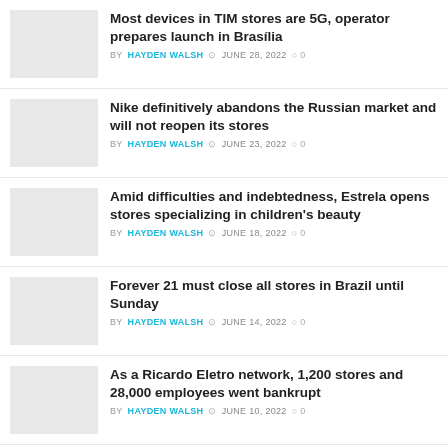Most devices in TIM stores are 5G, operator prepares launch in Brasília | BY HAYDEN WALSH | JUNE 28, 2022 | 0
Nike definitively abandons the Russian market and will not reopen its stores | BY HAYDEN WALSH | JUNE 23, 2022 | 0
Amid difficulties and indebtedness, Estrela opens stores specializing in children's beauty | BY HAYDEN WALSH | JUNE 18, 2022 | 0
Forever 21 must close all stores in Brazil until Sunday | BY HAYDEN WALSH | JUNE 14, 2022 | 0
As a Ricardo Eletro network, 1,200 stores and 28,000 employees went bankrupt | BY HAYDEN WALSH | JUNE 10, 2022 | 0
Starbucks announces exit from Russia, closing